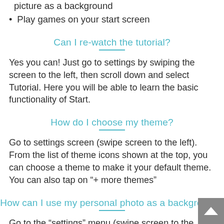Select your favorite theme or use your own personal picture as a background
Play games on your start screen
Can I re-watch the tutorial?
Yes you can! Just go to settings by swiping the screen to the left, then scroll down and select Tutorial. Here you will be able to learn the basic functionality of Start.
How do I choose my theme?
Go to settings screen (swipe screen to the left). From the list of theme icons shown at the top, you can choose a theme to make it your default theme. You can also tap on "+ more themes"
How can I use my personal photo as a background?
Go to the “settings” menu (swipe screen to the left).and tap